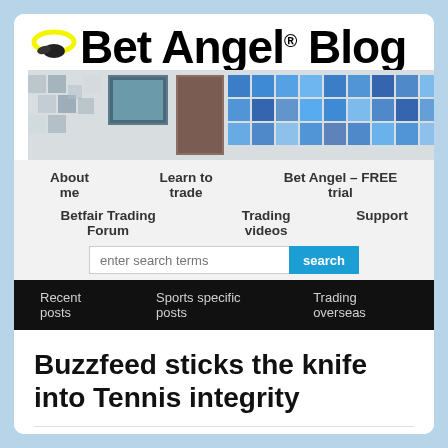[Figure (logo): Bet Angel Blog logo with yellow halo icon and bold black text]
[Figure (illustration): Decorative banner with checkered tiles and sports/trading imagery]
About me
Learn to trade
Bet Angel – FREE trial
Betfair Trading Forum
Trading videos
Support
Recent posts
Sports specific posts
Trading overseas
Buzzfeed sticks the knife into Tennis integrity
18/01/2016 | By Peter Webb | Reply